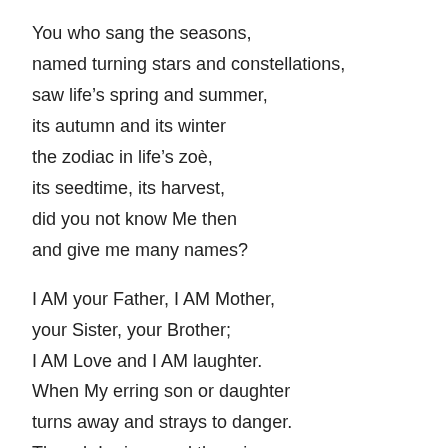You who sang the seasons,
named turning stars and constellations,
saw life's spring and summer,
its autumn and its winter
the zodiac in life's zoè,
its seedtime, its harvest,
did you not know Me then
and give me many names?

I AM your Father, I AM Mother,
your Sister, your Brother;
I AM Love and I AM laughter.
When My erring son or daughter
turns away and strays to danger.
Though I grieve and there is anger.
Yet in Me there is no turning,